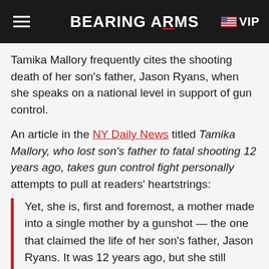BEARING ARMS VIP
Tamika Mallory frequently cites the shooting death of her son's father, Jason Ryans, when she speaks on a national level in support of gun control.
An article in the NY Daily News titled Tamika Mallory, who lost son's father to fatal shooting 12 years ago, takes gun control fight personally attempts to pull at readers' heartstrings:
Yet, she is, first and foremost, a mother made into a single mother by a gunshot — the one that claimed the life of her son's father, Jason Ryans. It was 12 years ago, but she still weeps when she recalls the moment her mother called her that day as she drove home from work.